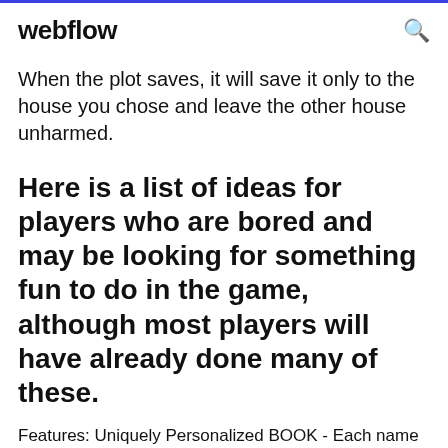webflow
When the plot saves, it will save it only to the house you chose and leave the other house unharmed.
Here is a list of ideas for players who are bored and may be looking for something fun to do in the game, although most players will have already done many of these.
Features: Uniquely Personalized BOOK - Each name tells a different story, based on the letters of the child's name. The story will be as